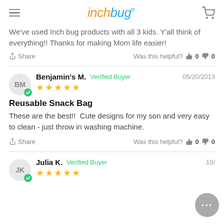inchbug
We've used Inch bug products with all 3 kids. Y'all think of everything!! Thanks for making Mom life easier!
Share   Was this helpful? 0  0
Benjamin's M.  Verified Buyer  05/20/2013
★★★★★
Reusable Snack Bag
These are the best!!  Cute designs for my son and very easy to clean - just throw in washing machine.
Share   Was this helpful? 0  0
Julia K.  Verified Buyer  10/...
★★★★★